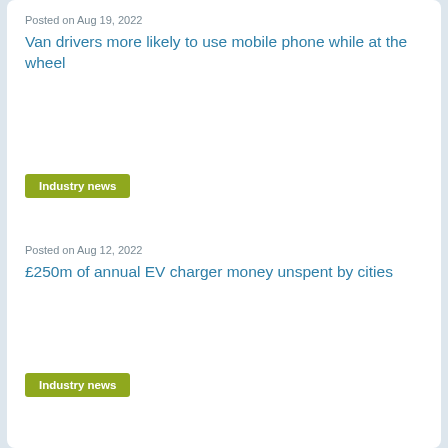Posted on Aug 19, 2022
Van drivers more likely to use mobile phone while at the wheel
Industry news
Posted on Aug 12, 2022
£250m of annual EV charger money unspent by cities
Industry news